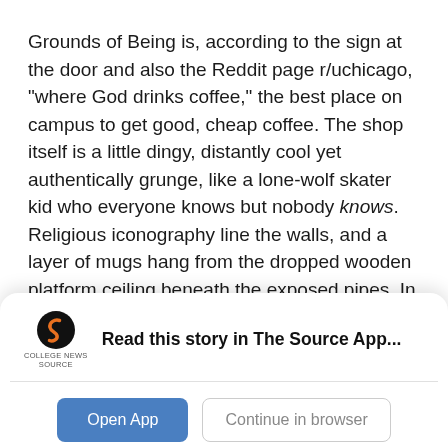Grounds of Being is, according to the sign at the door and also the Reddit page r/uchicago, "where God drinks coffee," the best place on campus to get good, cheap coffee. The shop itself is a little dingy, distantly cool yet authentically grunge, like a lone-wolf skater kid who everyone knows but nobody knows. Religious iconography line the walls, and a layer of mugs hang from the dropped wooden platform ceiling beneath the exposed pipes. In front of me, there's a blackboard menu of teas and coffees; bagels and chips galore, fridge stocked full of trendy kombucha drinks.
[Figure (logo): College News Source logo — stylized orange/dark S shape with text 'COLLEGE NEWS SOURCE' beneath]
Read this story in The Source App...
Open App
Continue in browser